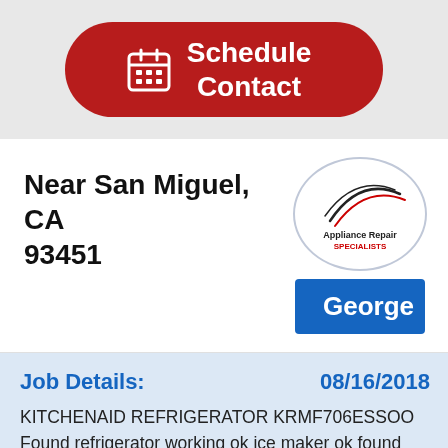[Figure (other): Red rounded button with calendar icon and text 'Schedule Contact']
Near San Miguel, CA 93451
[Figure (logo): Appliance Repair Specialists logo in a circle]
George
Job Details:
08/16/2018
KITCHENAID REFRIGERATOR KRMF706ESSOO Found refrigerator working ok ice maker ok found refrigerator at 33degress in fresh food area customer instruct unit needs to be 37 recomended setting recalibrated checking ok. No dents or dings cause by tech.